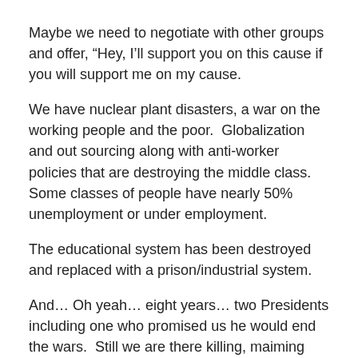Maybe we need to negotiate with other groups and offer, “Hey, I’ll support you on this cause if you will support me on my cause.
We have nuclear plant disasters, a war on the working people and the poor.  Globalization and out sourcing along with anti-worker policies that are destroying the middle class.  Some classes of people have nearly 50% unemployment or under employment.
The educational system has been destroyed and replaced with a prison/industrial system.
And… Oh yeah… eight years… two Presidents including one who promised us he would end the wars.  Still we are there killing, maiming and spending money hand over fist while pushing for austerity measures at home.